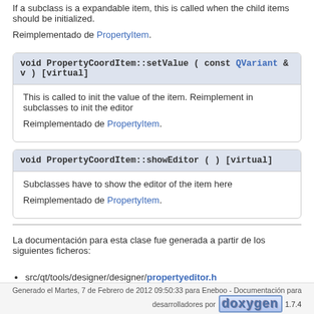If a subclass is a expandable item, this is called when the child items should be initialized.
Reimplementado de PropertyItem.
void PropertyCoordItem::setValue ( const QVariant & v ) [virtual]
This is called to init the value of the item. Reimplement in subclasses to init the editor
Reimplementado de PropertyItem.
void PropertyCoordItem::showEditor ( ) [virtual]
Subclasses have to show the editor of the item here
Reimplementado de PropertyItem.
La documentación para esta clase fue generada a partir de los siguientes ficheros:
src/qt/tools/designer/designer/propertyeditor.h
src/qt/tools/designer/designer/propertyeditor.cpp
Generado el Martes, 7 de Febrero de 2012 09:50:33 para Eneboo - Documentación para desarrolladores por doxygen 1.7.4